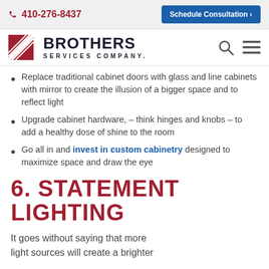☎ 410-276-8437   Schedule Consultation >
[Figure (logo): Brothers Services Company logo with diagonal striped square icon and company name]
Replace traditional cabinet doors with glass and line cabinets with mirror to create the illusion of a bigger space and to reflect light
Upgrade cabinet hardware, – think hinges and knobs – to add a healthy dose of shine to the room
Go all in and invest in custom cabinetry designed to maximize space and draw the eye
6. STATEMENT LIGHTING
It goes without saying that more light sources will create a brighter